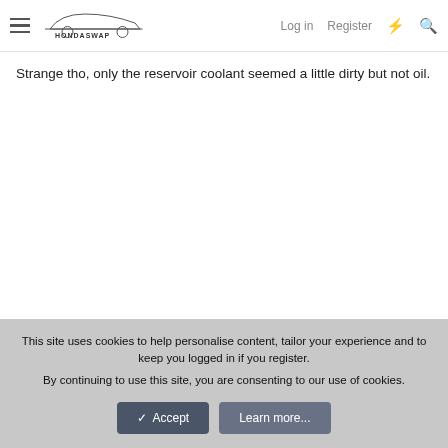HondaSwap — Log in | Register
Strange tho, only the reservoir coolant seemed a little dirty but not oil.
This site uses cookies to help personalise content, tailor your experience and to keep you logged in if you register.
By continuing to use this site, you are consenting to our use of cookies.